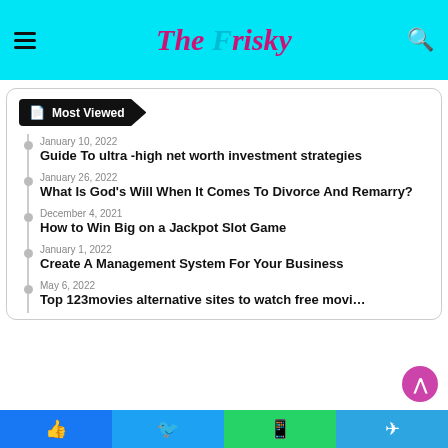The Frisky
Most Viewed
January 10, 2022
Guide To ultra -high net worth investment strategies
January 26, 2022
What Is God's Will When It Comes To Divorce And Remarry?
December 4, 2021
How to Win Big on a Jackpot Slot Game
January 1, 2022
Create A Management System For Your Business
May 6, 2022
Top 123movies alternative sites to watch free movi…